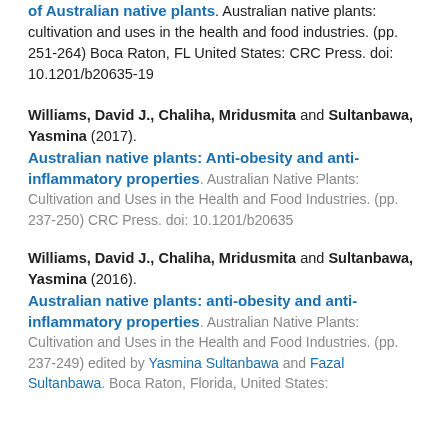of Australian native plants. Australian native plants: cultivation and uses in the health and food industries. (pp. 251-264) Boca Raton, FL United States: CRC Press. doi: 10.1201/b20635-19
Williams, David J., Chaliha, Mridusmita and Sultanbawa, Yasmina (2017). Australian native plants: Anti-obesity and anti-inflammatory properties. Australian Native Plants: Cultivation and Uses in the Health and Food Industries. (pp. 237-250) CRC Press. doi: 10.1201/b20635
Williams, David J., Chaliha, Mridusmita and Sultanbawa, Yasmina (2016). Australian native plants: anti-obesity and anti-inflammatory properties. Australian Native Plants: Cultivation and Uses in the Health and Food Industries. (pp. 237-249) edited by Yasmina Sultanbawa and Fazal Sultanbawa. Boca Raton, Florida, United States: